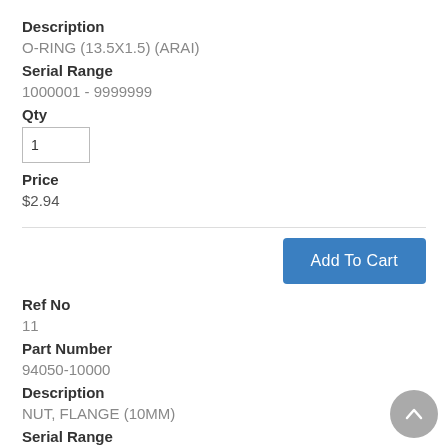Description
O-RING (13.5X1.5) (ARAI)
Serial Range
1000001 - 9999999
Qty
1
Price
$2.94
Ref No
11
Part Number
94050-10000
Description
NUT, FLANGE (10MM)
Serial Range
1000001 - 9999999
Qty